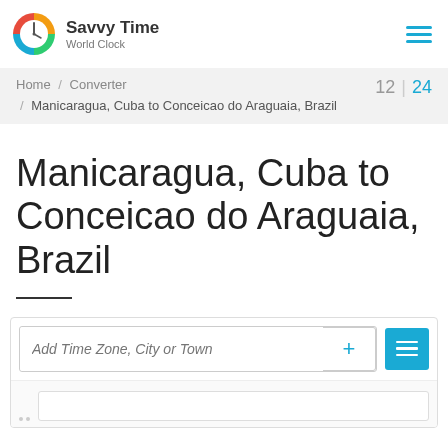Savvy Time World Clock
Home / Converter / Manicaragua, Cuba to Conceicao do Araguaia, Brazil | 12 | 24
Manicaragua, Cuba to Conceicao do Araguaia, Brazil
Add Time Zone, City or Town